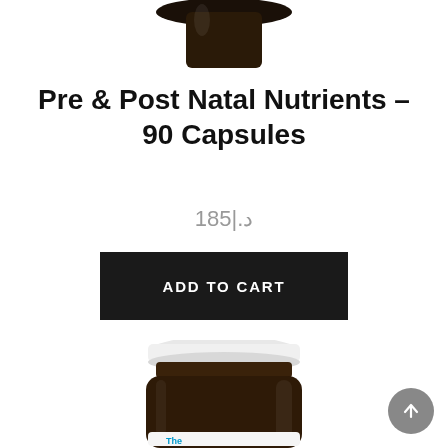[Figure (photo): Partial top view of a dark amber glass supplement bottle with dark cap, cropped at the top of the page]
Pre & Post Natal Nutrients – 90 Capsules
185|.د
ADD TO CART
[Figure (photo): A dark amber glass supplement bottle with white cap; label visible at bottom showing partial text starting with 'The']